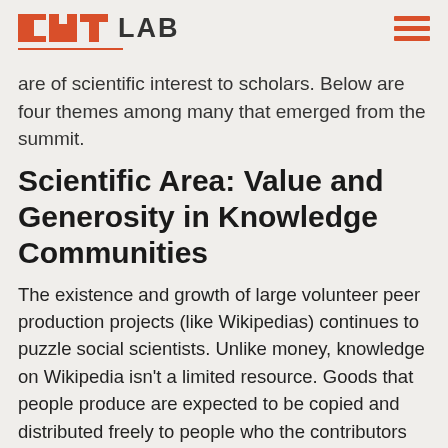CAT LAB
are of scientific interest to scholars. Below are four themes among many that emerged from the summit.
Scientific Area: Value and Generosity in Knowledge Communities
The existence and growth of large volunteer peer production projects (like Wikipedias) continues to puzzle social scientists. Unlike money, knowledge on Wikipedia isn't a limited resource. Goods that people produce are expected to be copied and distributed freely to people who the contributors will never meet (Benkler 2006).
Research with Wikipedians can advance social scientific